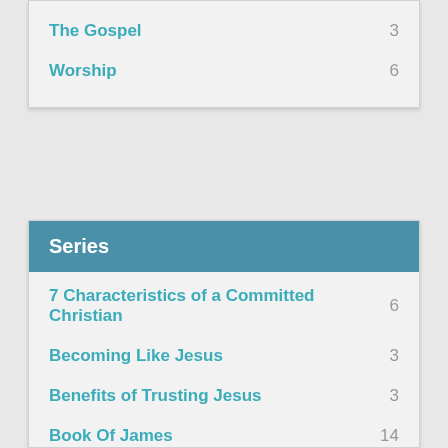The Gospel  3
Worship  6
Series
7 Characteristics of a Committed Christian  6
Becoming Like Jesus  3
Benefits of Trusting Jesus  3
Book Of James  14
Core Value  6
Failing to Follow  4
Financial Freedom  7
Genisis  22